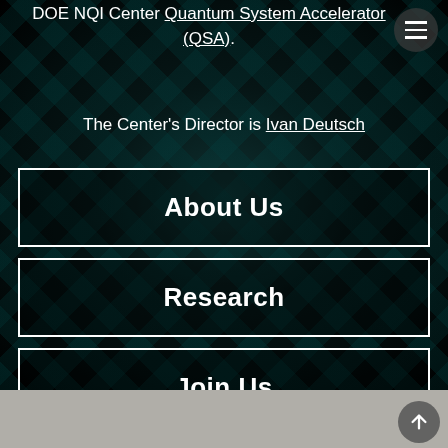DOE NQI Center Quantum System Accelerator (QSA).
The Center's Director is Ivan Deutsch
About Us
Research
Join Us